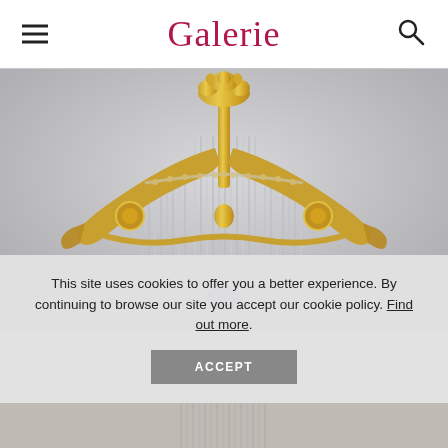Galerie
[Figure (photo): An ornate Art Nouveau gold-metal chandelier with crystal rod pendants hanging from curved arms, photographed against a light gray background. The upper portion shows elaborate decorative metalwork and the lower portion shows the crystal fringe detail.]
This site uses cookies to offer you a better experience. By continuing to browse our site you accept our cookie policy. Find out more.
[Figure (photo): Bottom strip showing a partial view of what appears to be another decorative item or extension of the chandelier image.]